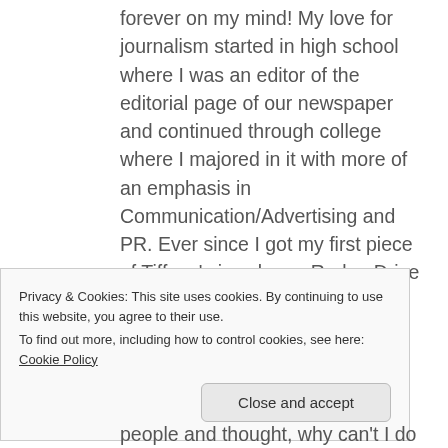forever on my mind! My love for journalism started in high school where I was an editor of the editorial page of our newspaper and continued through college where I majored in it with more of an emphasis in Communication/Advertising and PR. Ever since I got my first piece of Tiffany's jewelry on Rodeo Drive in the 5th grade, I knew I had a new found love for fashion and designers. It wasn't until a couple years ago that a
Privacy & Cookies: This site uses cookies. By continuing to use this website, you agree to their use.
To find out more, including how to control cookies, see here: Cookie Policy
people and thought, why can't I do